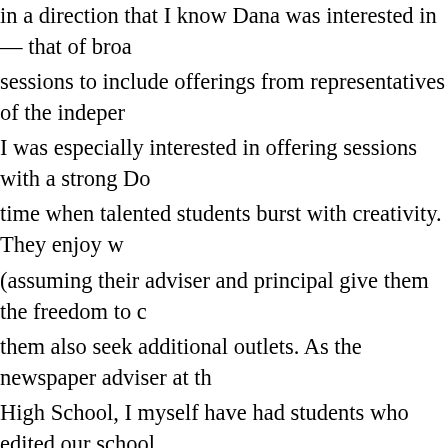in a direction that I know Dana was interested in — that of broad sessions to include offerings from representatives of the independent I was especially interested in offering sessions with a strong Do time when talented students burst with creativity. They enjoy w (assuming their adviser and principal give them the freedom to them also seek additional outlets. As the newspaper adviser at High School, I myself have had students who edited our school published their own zine. In fact, I currently have students who publish their own blogs. My experience has been that DIY media and school publications fact, they benefit each other. School publications become energ DIY student journalists bring to their work. In turn, by producin students acquire the discipline that comes from writing for an a give them immediate feedback. Did they write something that m themselves? Are they being too insular? Too self-indulgent? Th hesitation. Those students become better journalists from the ex publications improve. I've seen it happen. And it's a beautiful t In that spirit, this year's conference will feature DIY sessions o video, and media activism. Our speakers will include a number